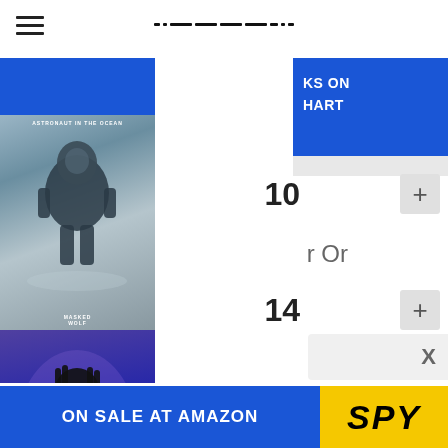Navigation menu with hamburger icon and dot/dash logo marks
[Figure (screenshot): Music chart website screenshot showing album art sidebar on left with 'Astronaut In The Ocean' by Masked Wolf and a rapper performing image below, blue header band with partial text 'KS ON HART', chart positions 10 and 14 with plus buttons, partial text 'r Or', close X button, and 'ON SALE AT AMAZON SPY' banner at bottom]
10
r Or
14
ON SALE AT AMAZON   SPY